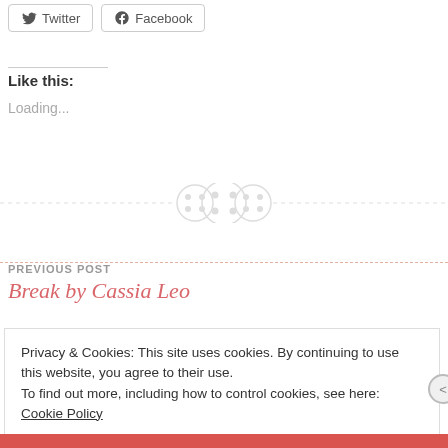[Figure (other): Twitter and Facebook social sharing buttons]
Like this:
Loading...
[Figure (other): Decorative dashed divider with three circular button icons]
PREVIOUS POST
Break by Cassia Leo
Privacy & Cookies: This site uses cookies. By continuing to use this website, you agree to their use.
To find out more, including how to control cookies, see here: Cookie Policy
Close and accept